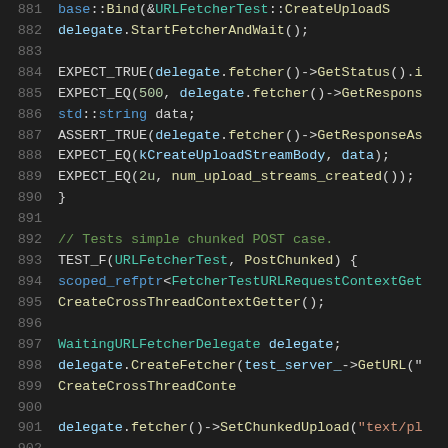[Figure (screenshot): Source code listing in dark theme IDE showing C++ unit test code, lines 881-902, with syntax highlighting. Colors include blue for identifiers, green for comments, purple for keywords, teal for types, and orange for strings.]